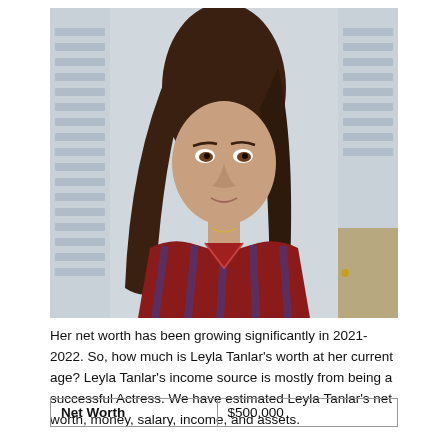[Figure (photo): Young woman with long brown hair wearing a red and blue plaid flannel shirt, standing outdoors with a light-colored wall and door behind her.]
Her net worth has been growing significantly in 2021-2022. So, how much is Leyla Tanlar's worth at her current age? Leyla Tanlar's income source is mostly from being a successful Actress. We have estimated Leyla Tanlar's net worth, money, salary, income, and assets.
| Net Worth | $500,000 |